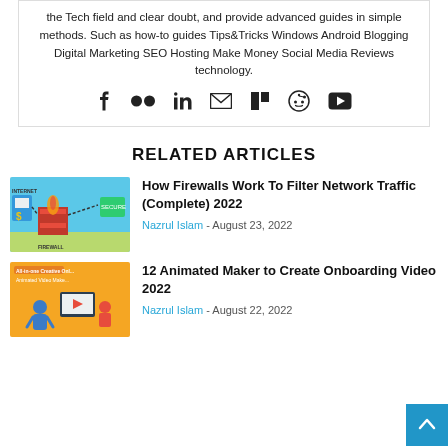the Tech field and clear doubt, and provide advanced guides in simple methods. Such as how-to guides Tips&Tricks Windows Android Blogging Digital Marketing SEO Hosting Make Money Social Media Reviews technology.
[Figure (illustration): Social media icons row: Facebook, Flickr, LinkedIn, Email/Envelope, Mix, Reddit, YouTube]
RELATED ARTICLES
[Figure (illustration): Thumbnail image for firewall article showing network/firewall diagram with fire imagery]
How Firewalls Work To Filter Network Traffic (Complete) 2022
Nazrul Islam - August 23, 2022
[Figure (illustration): Thumbnail image for animated video maker article - yellow background with creative tools illustration]
12 Animated Maker to Create Onboarding Video 2022
Nazrul Islam - August 22, 2022